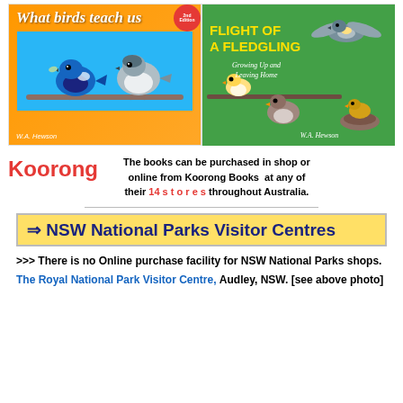[Figure (illustration): Two book covers side by side: left is 'What birds teach us' by W.A. Hewson (2nd Edition) with orange background and blue/grey birds; right is 'Flight of a Fledgling - Growing Up and Leaving Home' by W.A. Hewson with green background and various birds.]
Koorong   The books can be purchased in shop or online from Koorong Books at any of their 14 stores throughout Australia.
⇒ NSW National Parks Visitor Centres
>>> There is no Online purchase facility for NSW National Parks shops.
The Royal National Park Visitor Centre, Audley, NSW. [see above photo]